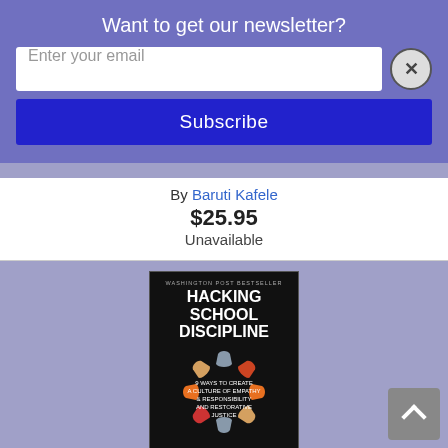Want to get our newsletter?
Enter your email
Subscribe
By Baruti Kafele
$25.95
Unavailable
[Figure (photo): Book cover of Hacking School Discipline: 9 Ways to Create a Culture of Empathy and Responsibility and Restorative Justice. Dark background with colorful hand illustrations arranged in a circle.]
Hacking School Discipline: 9 Ways to Create a Culture of Empathy and Responsibility Using Restorative Justice (Hack Learning #22) (Hardcover)
By Nathan Maynard, Brad Weinstein
$32.97